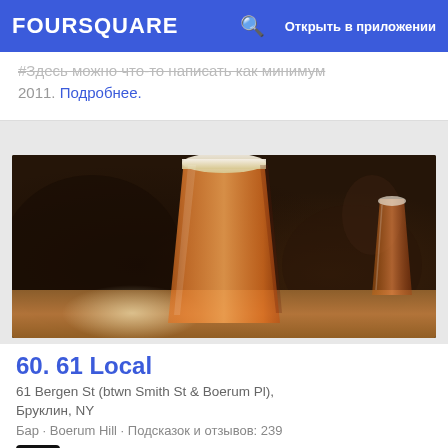FOURSQUARE  Открыть в приложении
2011. Подробнее.
[Figure (photo): A pint glass of amber beer on a dark bar surface, with a smaller beer glass visible in the background on the right.]
60. 61 Local
61 Bergen St (btwn Smith St & Boerum Pl),
Бруклин, NY
Бар · Boerum Hill · Подсказок и отзывов: 239
Time Out New York: Order a round of balanced Barrier Brewing